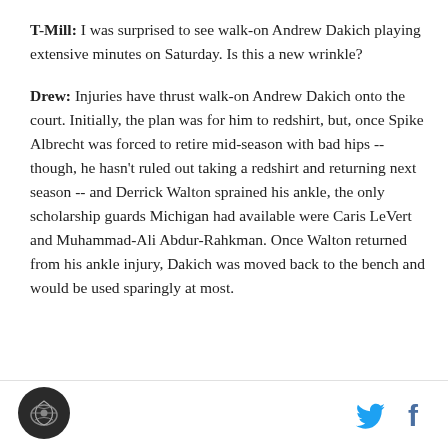T-Mill: I was surprised to see walk-on Andrew Dakich playing extensive minutes on Saturday. Is this a new wrinkle?
Drew: Injuries have thrust walk-on Andrew Dakich onto the court. Initially, the plan was for him to redshirt, but, once Spike Albrecht was forced to retire mid-season with bad hips -- though, he hasn't ruled out taking a redshirt and returning next season -- and Derrick Walton sprained his ankle, the only scholarship guards Michigan had available were Caris LeVert and Muhammad-Ali Abdur-Rahkman. Once Walton returned from his ankle injury, Dakich was moved back to the bench and would be used sparingly at most.
[Figure (logo): Circular logo with dark background and figure/bird silhouette]
[Figure (logo): Twitter bird icon in blue and Facebook f icon in blue]